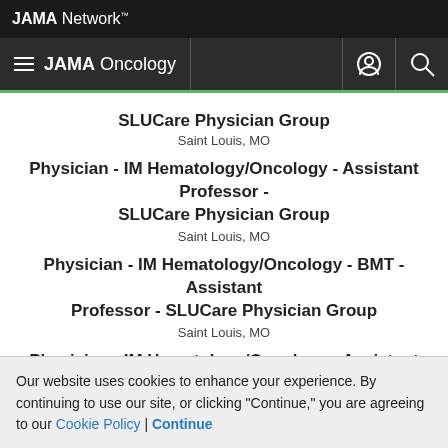JAMA Network™
JAMA Oncology
SLUCare Physician Group
Saint Louis, MO
Physician - IM Hematology/Oncology - Assistant Professor - SLUCare Physician Group
Saint Louis, MO
Physician - IM Hematology/Oncology - BMT - Assistant Professor - SLUCare Physician Group
Saint Louis, MO
Physician - IM Hematology/Oncology - Assistant Professor - SLUCare Physician Group
Saint Louis, MO
Our website uses cookies to enhance your experience. By continuing to use our site, or clicking "Continue," you are agreeing to our Cookie Policy | Continue